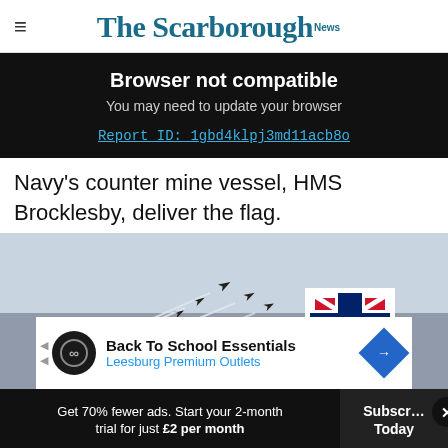The Scarborough News
Browser not compatible
You may need to update your browser
Report ID: 1gbd4klpj3md11acb8o
Navy's counter mine vessel, HMS Brocklesby, deliver the flag.
[Figure (photo): Red Arrows aerobatic display team flying in formation with smoke trails, with a Union Jack flag visible]
Back To School Essentials Leesburg Premium Outlets
Get 70% fewer ads. Start your 2-month trial for just £2 per month
Subscribe Today